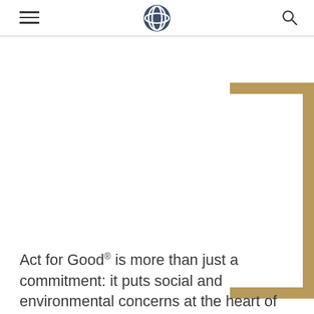Navigation header with hamburger menu, logo, and search icon
[Figure (illustration): Gold decorative L-shaped bracket/corner ornament in the upper-right area of the page]
Act for Good® is more than just a commitment: it puts social and environmental concerns at the heart of